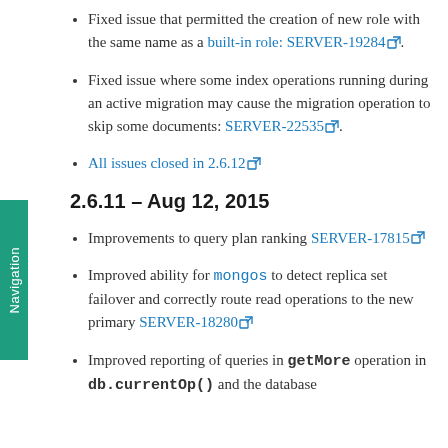Fixed issue that permitted the creation of new role with the same name as a built-in role: SERVER-19284.
Fixed issue where some index operations running during an active migration may cause the migration operation to skip some documents: SERVER-22535.
All issues closed in 2.6.12
2.6.11 – Aug 12, 2015
Improvements to query plan ranking SERVER-17815
Improved ability for mongos to detect replica set failover and correctly route read operations to the new primary SERVER-18280
Improved reporting of queries in getMore operation in db.currentOp() and the database